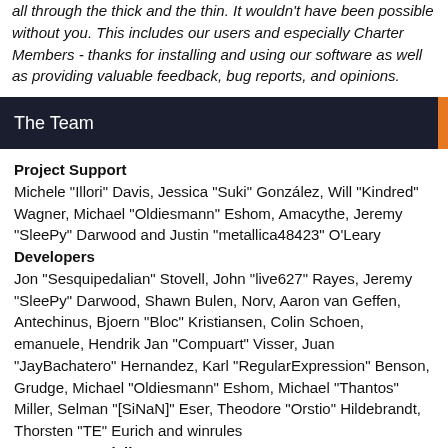all through the thick and the thin. It wouldn't have been possible without you. This includes our users and especially Charter Members - thanks for installing and using our software as well as providing valuable feedback, bug reports, and opinions.
The Team
Project Support
Michele "Illori" Davis, Jessica "Suki" González, Will "Kindred" Wagner, Michael "Oldiesmann" Eshom, Amacythe, Jeremy "SleePy" Darwood and Justin "metallica48423" O'Leary
Developers
Jon "Sesquipedalian" Stovell, John "live627" Rayes, Jeremy "SleePy" Darwood, Shawn Bulen, Norv, Aaron van Geffen, Antechinus, Bjoern "Bloc" Kristiansen, Colin Schoen, emanuele, Hendrik Jan "Compuart" Visser, Juan "JayBachatero" Hernandez, Karl "RegularExpression" Benson, Grudge, Michael "Oldiesmann" Eshom, Michael "Thantos" Miller, Selman "[SiNaN]" Eser, Theodore "Orstio" Hildebrandt, Thorsten "TE" Eurich and winrules
Support Specialists
Aleksi "Lex" Kilpinen, br360, GigaWatt, Will "Kindred"